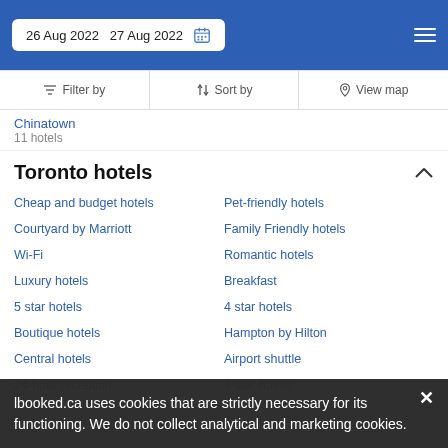26 Aug 2022  27 Aug 2022
Filter by  Sort by  View map
Chinatown
11 hotels
Toronto hotels
Cheap and budget hotels
Pet-friendly hotels
Courtyard by Marriott
Family Friendly hotels
Wi-Fi
Romantic hotels
Luxury hotels
Breakfast
5 star hotels
4 star hotels
Boutique hotels
Hampton by Hilton
Central hotels
Airport shuttle
24-hour reception
3 star hotels
lbooked.ca uses cookies that are strictly necessary for its functioning. We do not collect analytical and marketing cookies.